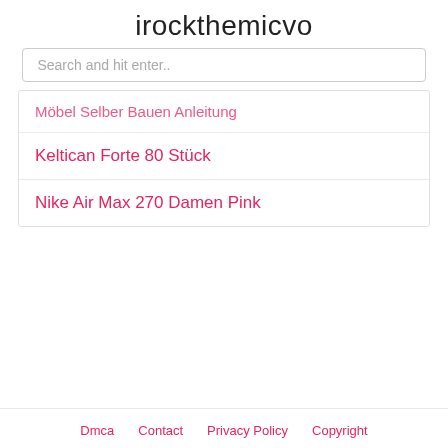irockthemicvo
Search and hit enter..
Möbel Selber Bauen Anleitung
Keltican Forte 80 Stück
Nike Air Max 270 Damen Pink
Dmca   Contact   Privacy Policy   Copyright